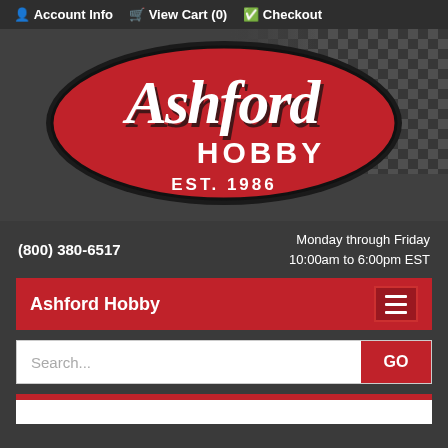Account Info  View Cart (0)  Checkout
[Figure (logo): Ashford Hobby logo — red oval with white script 'Ashford' text, 'HOBBY' below, 'EST. 1986' at bottom, on dark checkered background]
(800) 380-6517    Monday through Friday
10:00am to 6:00pm EST
Ashford Hobby
Search...  GO